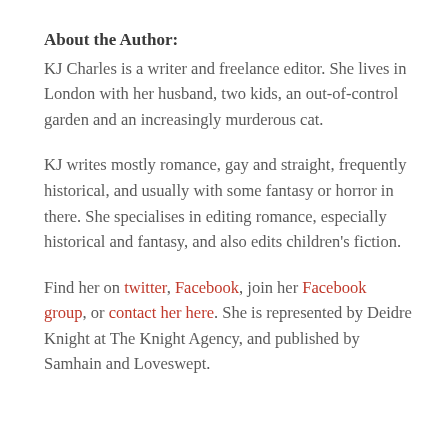About the Author:
KJ Charles is a writer and freelance editor. She lives in London with her husband, two kids, an out-of-control garden and an increasingly murderous cat.
KJ writes mostly romance, gay and straight, frequently historical, and usually with some fantasy or horror in there. She specialises in editing romance, especially historical and fantasy, and also edits children's fiction.
Find her on twitter, Facebook, join her Facebook group, or contact her here. She is represented by Deidre Knight at The Knight Agency, and published by Samhain and Loveswept.